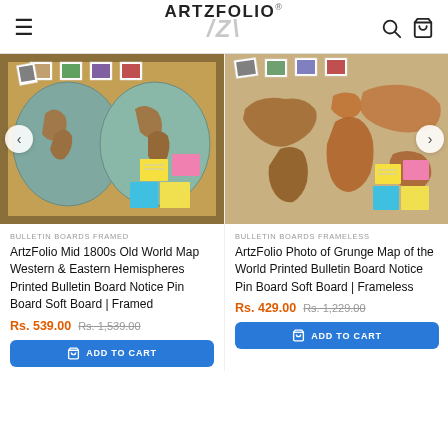ARTZFOLIO
[Figure (photo): ArtzFolio Mid 1800s Old World Map Western & Eastern Hemispheres Printed Bulletin Board with sticky notes and polaroid photos pinned, framed]
[Figure (photo): ArtzFolio Photo of Grunge Map of the World Printed Bulletin Board Notice Pin Board Soft Board Frameless, with sticky notes and polaroid photos]
BULLETIN BOARDS FRAMED
ArtzFolio Mid 1800s Old World Map Western & Eastern Hemispheres Printed Bulletin Board Notice Pin Board Soft Board | Framed
Rs. 539.00  Rs. 1,539.00
BULLETIN BOARDS FRAMELESS
ArtzFolio Photo of Grunge Map of the World Printed Bulletin Board Notice Pin Board Soft Board | Frameless
Rs. 429.00  Rs. 1,229.00
ADD TO CART
ADD TO CART